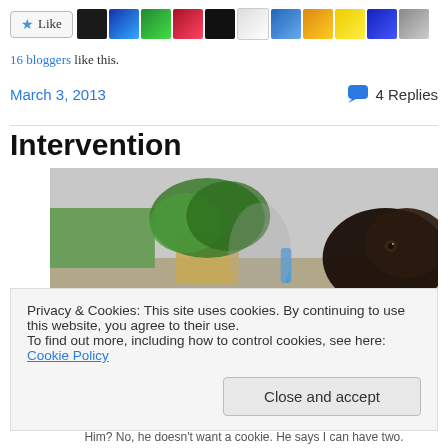[Figure (other): Like button with star icon and a row of blogger avatar thumbnails]
16 bloggers like this.
March 3, 2013    4 Replies
Intervention
[Figure (photo): Outdoor photo showing a black dog peeking from the right, a potted plant, and a blue bottle on a porch/patio]
Privacy & Cookies: This site uses cookies. By continuing to use this website, you agree to their use.
To find out more, including how to control cookies, see here: Cookie Policy
Him? No, he doesn't want a cookie. He says I can have two.